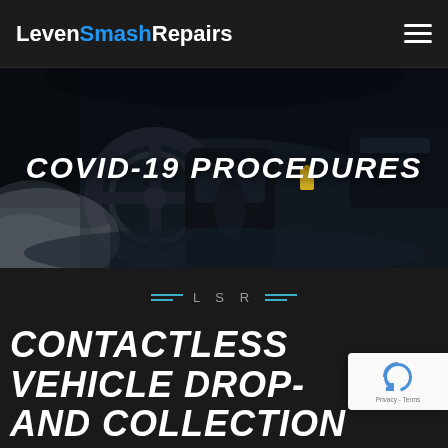Leven Smash Repairs
[Figure (photo): Car interior photo showing steering wheel, gear shift, and center console in dark blue/black tones, with plastic wrap on seat]
COVID-19 PROCEDURES
[Figure (logo): LSR decorative badge with two cyan/teal horizontal lines on each side and text 'L S R' in center]
CONTACTLESS VEHICLE DROP-
AND COLLECTION